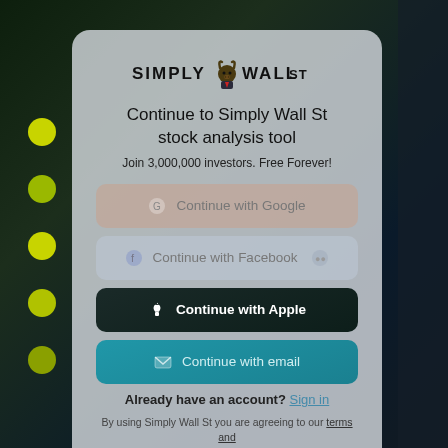[Figure (logo): Simply Wall St logo with bull mascot icon between SIMPLY and WALL ST text]
Continue to Simply Wall St stock analysis tool
Join 3,000,000 investors. Free Forever!
Continue with Google
Continue with Facebook
Continue with Apple
Continue with email
Already have an account? Sign in
By using Simply Wall St you are agreeing to our terms and conditions. Simply Wall St provides general investment advice only.